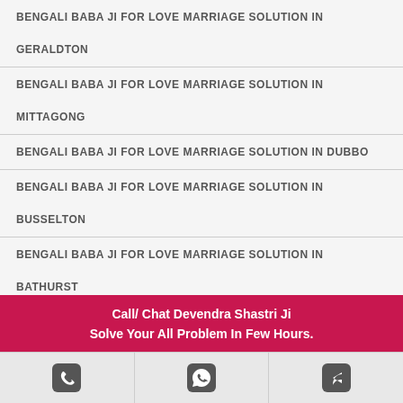BENGALI BABA JI FOR LOVE MARRIAGE SOLUTION IN GERALDTON
BENGALI BABA JI FOR LOVE MARRIAGE SOLUTION IN MITTAGONG
BENGALI BABA JI FOR LOVE MARRIAGE SOLUTION IN DUBBO
BENGALI BABA JI FOR LOVE MARRIAGE SOLUTION IN BUSSELTON
BENGALI BABA JI FOR LOVE MARRIAGE SOLUTION IN BATHURST
BENGALI BABA JI FOR LOVE MARRIAGE SOLUTION IN
Call/ Chat Devendra Shastri Ji
Solve Your All Problem In Few Hours.